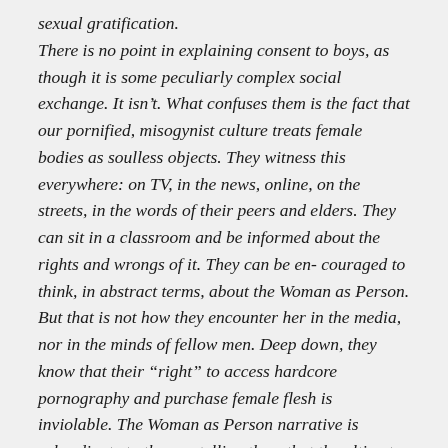sexual gratification. There is no point in explaining consent to boys, as though it is some peculiarly complex social exchange. It isn't. What confuses them is the fact that our pornified, misogynist culture treats female bodies as soulless objects. They witness this everywhere: on TV, in the news, online, on the streets, in the words of their peers and elders. They can sit in a classroom and be informed about the rights and wrongs of it. They can be en- couraged to think, in abstract terms, about the Woman as Person. But that is not how they encounter her in the media, nor in the minds of fellow men. Deep down, they know that their “right” to access hardcore pornography and purchase female flesh is inviolable. The Woman as Person narrative is subordinate to the one telling them that the ultimate human right is a “real” man’s right to